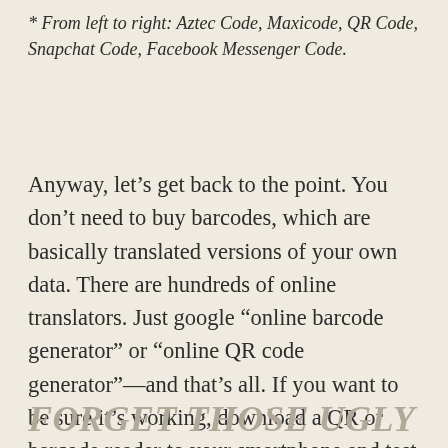* From left to right: Aztec Code, Maxicode, QR Code, Snapchat Code, Facebook Messenger Code.
Anyway, let’s get back to the point. You don’t need to buy barcodes, which are basically translated versions of your own data. There are hundreds of online translators. Just google “online barcode generator” or “online QR code generator”—and that’s all. If you want to be sure it’s working, download a QR or barcode reader to your smartphone and test it. Voilà! You have a free code.
FORGET THOSE UGLY